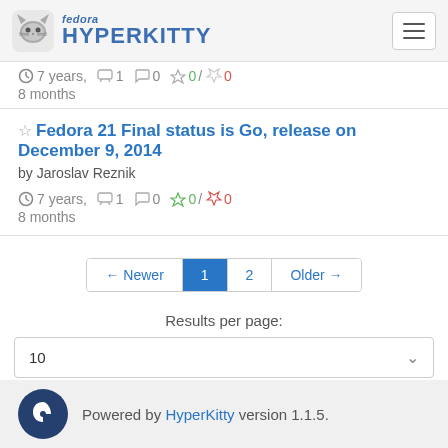fedora HYPERKITTY
7 years, 8 months  1  0  0 / 0
Fedora 21 Final status is Go, release on December 9, 2014
by Jaroslav Reznik
7 years, 8 months  1  0  0 / 0
← Newer  1  2  Older →
Results per page:
10
Powered by HyperKitty version 1.1.5.